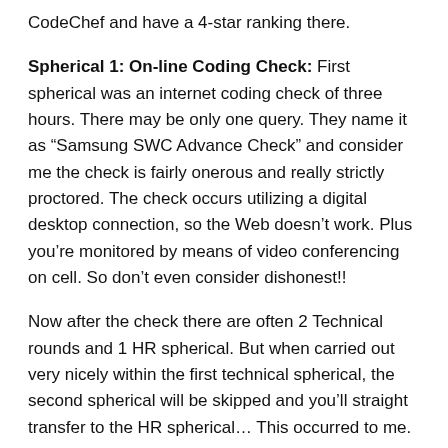CodeChef and have a 4-star ranking there.
Spherical 1: On-line Coding Check: First spherical was an internet coding check of three hours. There may be only one query. They name it as “Samsung SWC Advance Check” and consider me the check is fairly onerous and really strictly proctored. The check occurs utilizing a digital desktop connection, so the Web doesn’t work. Plus you’re monitored by means of video conferencing on cell. So don’t even consider dishonest!!
Now after the check there are often 2 Technical rounds and 1 HR spherical. But when carried out very nicely within the first technical spherical, the second spherical will be skipped and you’ll straight transfer to the HR spherical… This occurred to me.